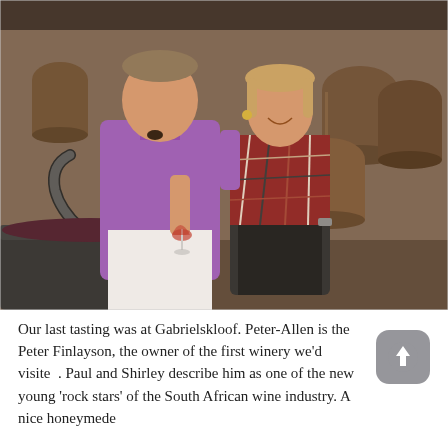[Figure (photo): Two people standing in a winery barrel room. A man in a purple linen shirt holds a glass of red wine with his arm around a woman in a patterned top and black shorts. Large wine barrels are visible in the background, and a wine fermentation tank is in the foreground left.]
Our last tasting was at Gabrielskloof. Peter-Allen is the Peter Finlayson, the owner of the first winery we'd visited. Paul and Shirley describe him as one of the new young 'rock stars' of the South African wine industry. A nice honeymede